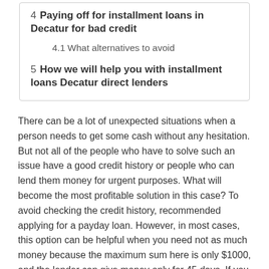4  Paying off for installment loans in Decatur for bad credit
4.1  What alternatives to avoid
5  How we will help you with installment loans Decatur direct lenders
There can be a lot of unexpected situations when a person needs to get some cash without any hesitation. But not all of the people who have to solve such an issue have a good credit history or people who can lend them money for urgent purposes. What will become the most profitable solution in this case? To avoid checking the credit history, recommended applying for a payday loan. However, in most cases, this option can be helpful when you need not as much money because the maximum sum here is only $1000, and the lender can give money only for 45 days. If you understand that this sum or time isn't enough for you